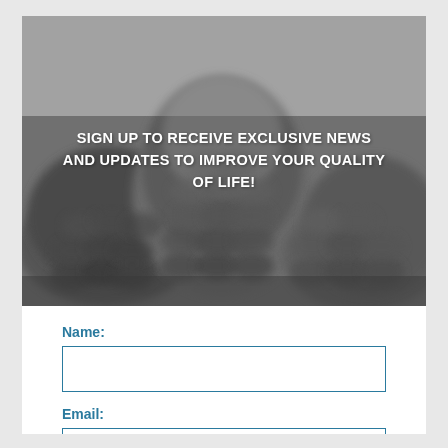[Figure (photo): Grayscale blurred photo of pine cones filling the background of the hero section]
SIGN UP TO RECEIVE EXCLUSIVE NEWS AND UPDATES TO IMPROVE YOUR QUALITY OF LIFE!
Name:
Email: